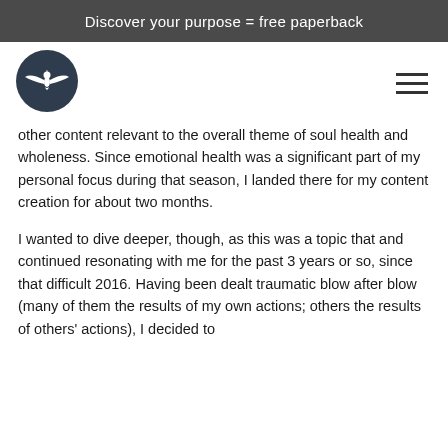Discover your purpose = free paperback
[Figure (logo): Circular logo with dark background featuring a bird/eagle with spread wings emblem in white]
other content relevant to the overall theme of soul health and wholeness. Since emotional health was a significant part of my personal focus during that season, I landed there for my content creation for about two months.
I wanted to dive deeper, though, as this was a topic that and continued resonating with me for the past 3 years or so, since that difficult 2016. Having been dealt traumatic blow after blow (many of them the results of my own actions; others the results of others' actions), I decided to